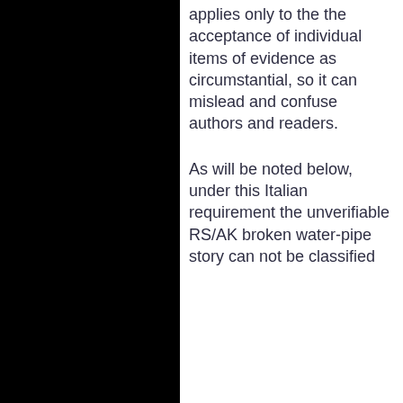applies only to the the acceptance of individual items of evidence as circumstantial, so it can mislead and confuse authors and readers.
As will be noted below, under this Italian requirement the unverifiable RS/AK broken water-pipe story can not be classified